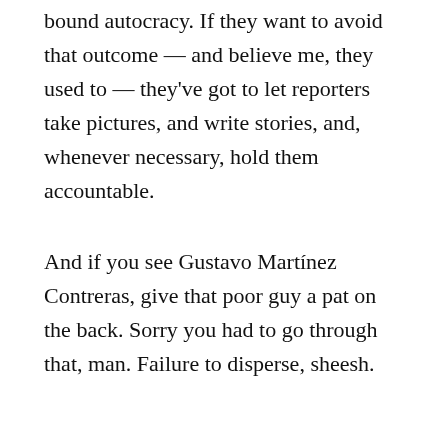bound autocracy. If they want to avoid that outcome — and believe me, they used to — they've got to let reporters take pictures, and write stories, and, whenever necessary, hold them accountable.
And if you see Gustavo Martínez Contreras, give that poor guy a pat on the back. Sorry you had to go through that, man. Failure to disperse, sheesh.